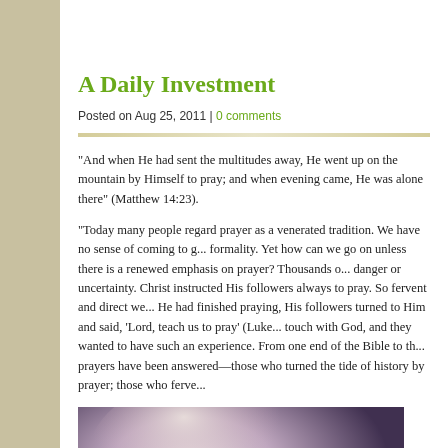A Daily Investment
Posted on Aug 25, 2011 | 0 comments
“And when He had sent the multitudes away, He went up on the mountain by Himself to pray; and when evening came, He was alone there” (Matthew 14:23).
“Today many people regard prayer as a venerated tradition. We have no sense of coming to grips with God; prayer is a mere formality. Yet how can we go on unless there is a renewed emphasis on prayer? Thousands of people in the world are living in danger or uncertainty. Christ instructed His followers always to pray. So fervent and direct were Christ’s prayers that when He had finished praying, His followers turned to Him and said, ‘Lord, teach us to pray’ (Luke 11:1). They saw that He was in touch with God, and they wanted to have such an experience. From one end of the Bible to the other, we find that the greatest prayers have been answered—those who turned the tide of history by prayer; those who ferve...
[Figure (photo): Close-up photo of hands raised/clasped in prayer against a dark purple/blue bokeh background]